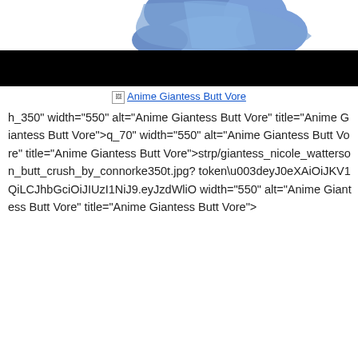[Figure (illustration): Partial view of blue anime character figure (upper body/back), cropped at top. Black redaction bar across lower portion of image.]
🖼 Anime Giantess Butt Vore (broken image link with underlined hyperlink text)
h_350" width="550" alt="Anime Giantess Butt Vore" title="Anime Giantess Butt Vore">q_70" width="550" alt="Anime Giantess Butt Vore" title="Anime Giantess Butt Vore">strp/giantess_nicole_watterson_butt_crush_by_connorke350t.jpg? token\u003deyJ0eXAiOiJKV1QiLCJhbGciOiJIUzI1NiJ9.eyJzdWliO width="550" alt="Anime Giantess Butt Vore" title="Anime Giantess Butt Vore">
[Figure (illustration): Anime scene with sky-blue background, anime character with brown hair visible at bottom, cherry blossoms at right. Black redaction bar at top. Text overlay reads 'My Giant Werewolf Boyfriend' in bold white with black outline.]